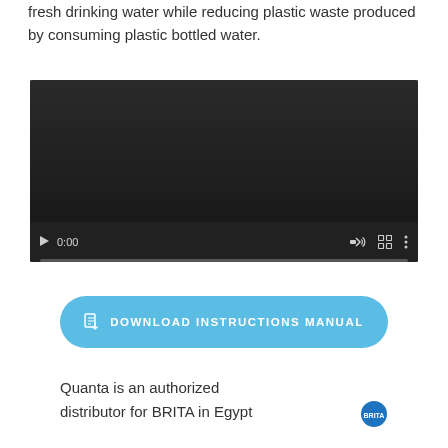fresh drinking water while reducing plastic waste produced by consuming plastic bottled water.
[Figure (screenshot): Embedded video player with dark background, showing 0:00 timestamp, play button, volume control, fullscreen button, and settings button. Progress bar at bottom.]
DOWNLOAD INSTRUCTIONS MANUAL
Quanta is an authorized distributor for BRITA in Egypt